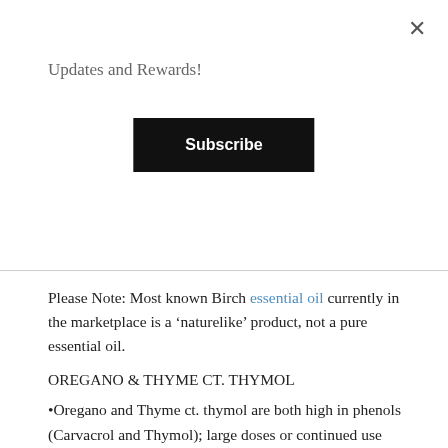Updates and Rewards!
Subscribe
Please Note: Most known Birch essential oil currently in the marketplace is a ‘naturelike’ product, not a pure essential oil.
OREGANO & THYME CT. THYMOL
•Oregano and Thyme ct. thymol are both high in phenols (Carvacrol and Thymol); large doses or continued use are toxic to the liver. Not recommended for use with children under 12 years of age, the very elderly, or those who have had hepatitis or